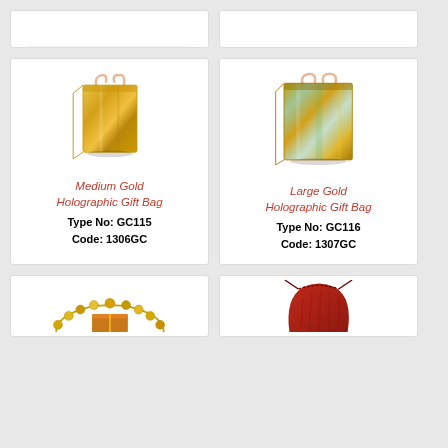[Figure (photo): Top row partial product cards (cropped at top)]
[Figure (photo): Medium Gold Holographic Gift Bag product photo]
Medium Gold Holographic Gift Bag
Type No: GC115
Code: 1306GC
[Figure (photo): Large Gold Holographic Gift Bag product photo]
Large Gold Holographic Gift Bag
Type No: GC116
Code: 1307GC
[Figure (photo): Bottom left partial product card with gold jewelry/beads]
[Figure (photo): Bottom right partial product card with red drawstring pouch]